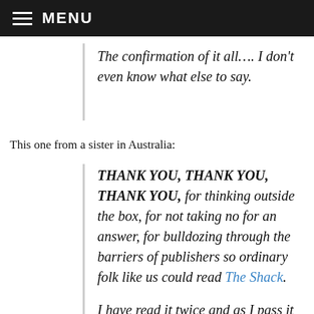MENU
The confirmation of it all…. I don't even know what else to say.
This one from a sister in Australia:
THANK YOU, THANK YOU, THANK YOU, for thinking outside the box, for not taking no for an answer, for bulldozing through the barriers of publishers so ordinary folk like us could read The Shack.
I have read it twice and as I pass it on to people I warn them it is like nothing they have ever read. Some people speak Spanish, some